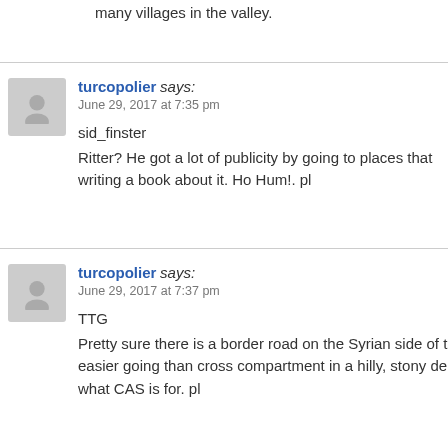many villages in the valley.
turcopolier says:
June 29, 2017 at 7:35 pm
sid_finster
Ritter? He got a lot of publicity by going to places that writing a book about it. Ho Hum!. pl
turcopolier says:
June 29, 2017 at 7:37 pm
TTG
Pretty sure there is a border road on the Syrian side of t easier going than cross compartment in a hilly, stony de what CAS is for. pl